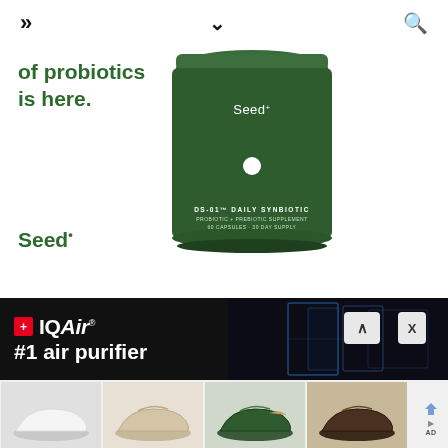» ∨ 🔍
of probiotics
is here.
[Figure (photo): Dark green cylindrical jar labeled 'Seed+ DS-01 Daily Synbiotic Probiotic + Prebiotic Supplement, 60 Capsules, 30 Day Supply' with a small white dot on the front]
Seed•
[Figure (photo): IQAir advertisement on dark background: Swiss cross logo, IQAir brand name, '#1 air purifier' text with glowing blue tech imagery on right side]
[Figure (photo): Strip of four shoe thumbnail images showing white sneakers, beige sneakers, dark green sneakers, and brown/black sneakers, with an ad badge on the right]